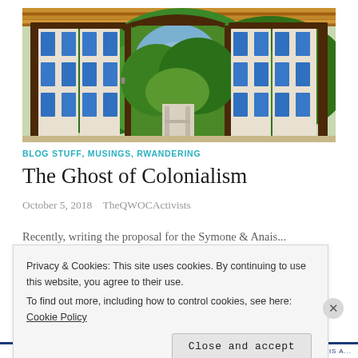[Figure (photo): Open decorative windows with blue-trimmed wooden shutters/doors, looking out onto lush green trees and foliage. Tiled ceiling visible at top. Appears to be a colonial-era building interior/balcony.]
BLOG STUFF, MUSINGS, RWANDERING
The Ghost of Colonialism
October 5, 2018   TheQWOCActivists
Privacy & Cookies: This site uses cookies. By continuing to use this website, you agree to their use.
To find out more, including how to control cookies, see here: Cookie Policy
Close and accept